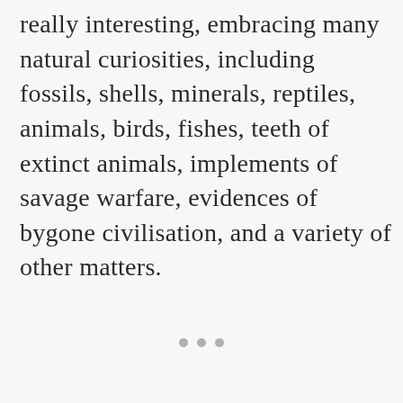really interesting, embracing many natural curiosities, including fossils, shells, minerals, reptiles, animals, birds, fishes, teeth of extinct animals, implements of savage warfare, evidences of bygone civilisation, and a variety of other matters.